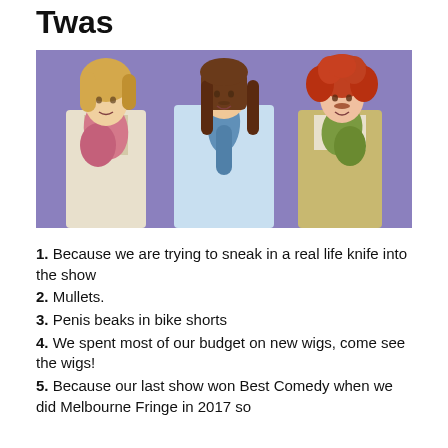Twas
[Figure (photo): Three performers in period/glam costumes with colorful wigs (blonde, brunette mullet, red curly) against a purple background, wearing ornate jackets and scarves]
1. Because we are trying to sneak in a real life knife into the show
2. Mullets.
3. Penis beaks in bike shorts
4. We spent most of our budget on new wigs, come see the wigs!
5. Because our last show won Best Comedy when we did Melbourne Fringe in 2017 so